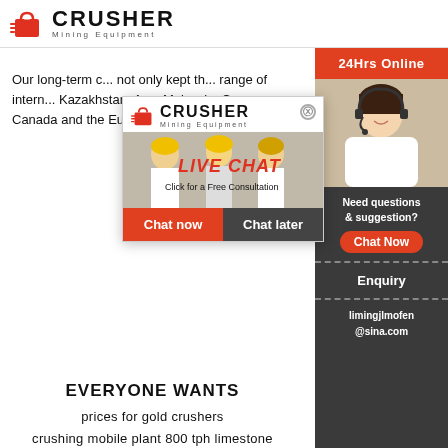CRUSHER Mining Equipment
Our long-term c... not only kept th... range of intern... Kazakhstan, Az... Malaysia, Coun... Canada and the European Union.
[Figure (screenshot): Live chat popup with CRUSHER Mining Equipment logo, workers in hard hats, LIVE CHAT headline, 'Click for a Free Consultation', Chat now and Chat later buttons]
[Figure (photo): Customer service representative with headset on right sidebar, 24Hrs Online label]
Need questions & suggestion?
Chat Now
Enquiry
limingjlmofen@sina.com
EVERYONE WANTS
prices for gold crushers
crushing mobile plant 800 tph limestone